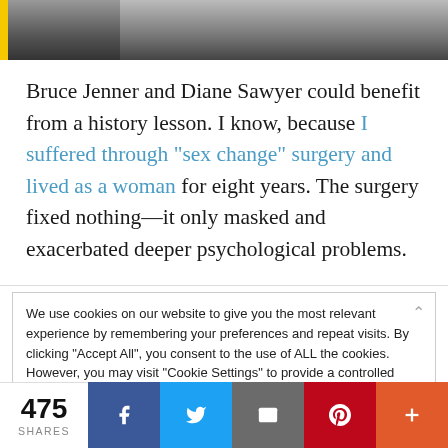[Figure (photo): Partial photo of a person, cropped, dark clothing, visible at top of page]
Bruce Jenner and Diane Sawyer could benefit from a history lesson. I know, because I suffered through "sex change" surgery and lived as a woman for eight years. The surgery fixed nothing—it only masked and exacerbated deeper psychological problems.
We use cookies on our website to give you the most relevant experience by remembering your preferences and repeat visits. By clicking "Accept All", you consent to the use of ALL the cookies. However, you may visit "Cookie Settings" to provide a controlled consent.
475 SHARES